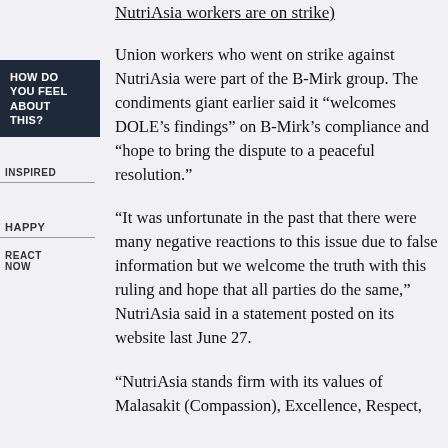NutriAsia workers are on strike)
Union workers who went on strike against NutriAsia were part of the B-Mirk group. The condiments giant earlier said it “welcomes DOLE’s findings” on B-Mirk’s compliance and “hope to bring the dispute to a peaceful resolution.”
HOW DO YOU FEEL ABOUT THIS?
INSPIRED
HAPPY
REACT NOW
“It was unfortunate in the past that there were many negative reactions to this issue due to false information but we welcome the truth with this ruling and hope that all parties do the same,” NutriAsia said in a statement posted on its website last June 27.
“NutriAsia stands firm with its values of Malasakit (Compassion), Excellence, Respect,